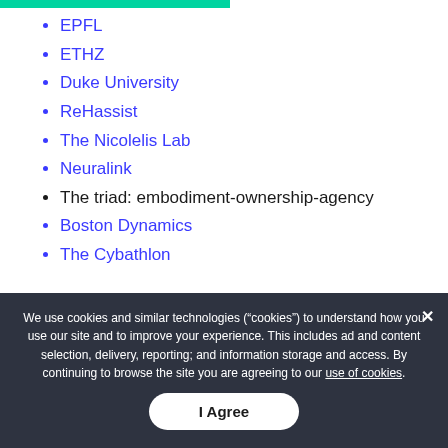EPFL
ETHZ
Duke University
ReHassist
The Nicolelis Lab
Neuralink
The triad: embodiment-ownership-agency
Boston Dynamics
The Cybathlon
We use cookies and similar technologies (“cookies”) to understand how you use our site and to improve your experience. This includes ad and content selection, delivery, reporting; and information storage and access. By continuing to browse the site you are agreeing to our use of cookies.
I Agree